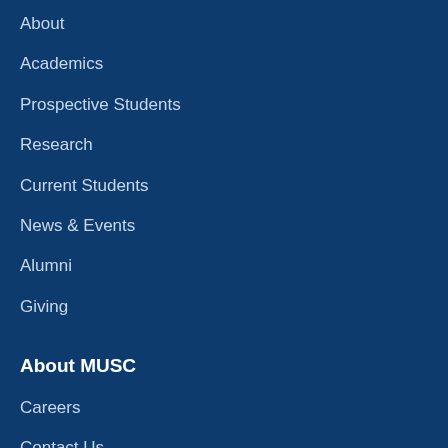About
Academics
Prospective Students
Research
Current Students
News & Events
Alumni
Giving
About MUSC
Careers
Contact Us
Find a Person
Giving
MUSC A to Z
Public Affairs & Media Relations
Wellness Center